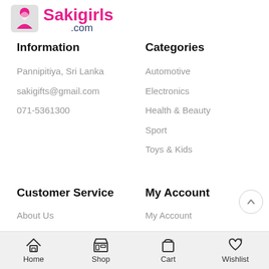[Figure (logo): Sakigirls.com logo with pink text and icon]
Information
Pannipitiya, Sri Lanka
sakigifts@gmail.com
071-5361300
Categories
Automotive
Electronics
Health & Beauty
Sport
Toys & Kids
Customer Service
My Account
About Us
My Account
Home  Shop  Cart 0  Wishlist 0